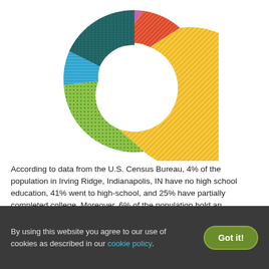[Figure (donut-chart): Education levels in Irving Ridge, Indianapolis, IN]
According to data from the U.S. Census Bureau, 4% of the population in Irving Ridge, Indianapolis, IN have no high school education, 41% went to high-school, and 25% have partially completed college. Moreover, 6% of the population hold an Associate Degree, 16% hold a Bachelor Degree, and 7% hold a Graduate Degree.
By using this website you agree to our use of cookies as described in our cookie policy.